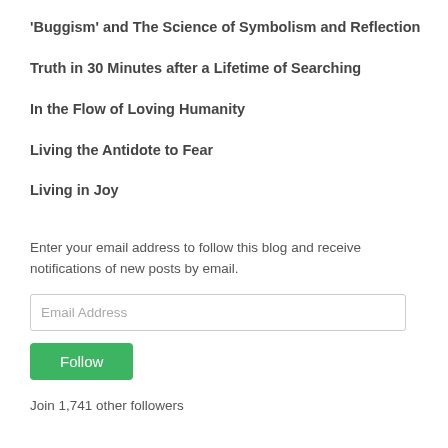'Buggism' and The Science of Symbolism and Reflection
Truth in 30 Minutes after a Lifetime of Searching
In the Flow of Loving Humanity
Living the Antidote to Fear
Living in Joy
Enter your email address to follow this blog and receive notifications of new posts by email.
Email Address
Follow
Join 1,741 other followers